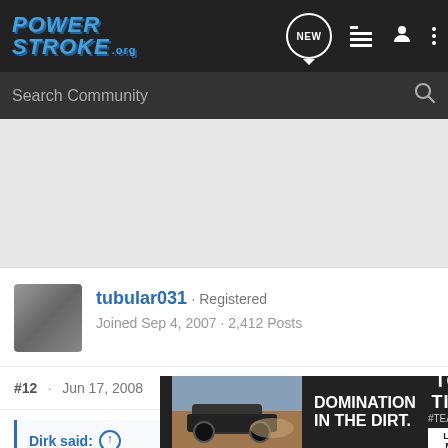PowerStroke.org — NEW, list, user, menu icons
Search Community
[Figure (photo): User avatar photo for tubular031 — blurred/pixelated thumbnail]
tubular031 · Registered
Joined Sep 4, 2007 · 2,412 Posts
#12 · Jun 17, 2008
Dirk said:
Walke
[Figure (photo): Toyo Tires advertisement banner showing off-road truck with text: DOMINATION IN THE DIRT. TOYO TIRES #TEAMTOYO LEARN MORE]